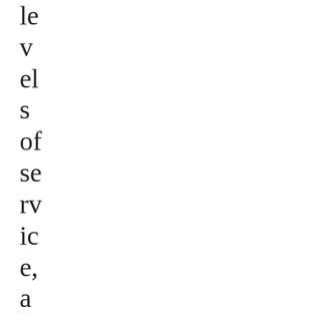le
v
el
s
of
se
rv
ic
e,
a
n
d
e
v
er
yt
hi